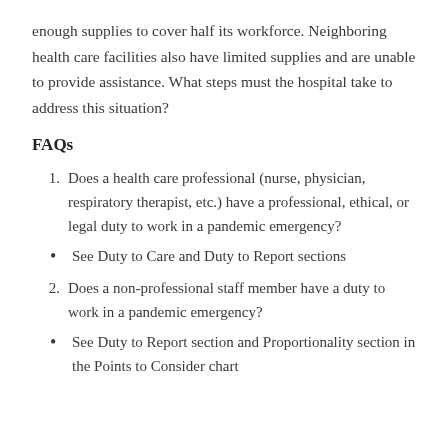enough supplies to cover half its workforce. Neighboring health care facilities also have limited supplies and are unable to provide assistance. What steps must the hospital take to address this situation?
FAQs
1. Does a health care professional (nurse, physician, respiratory therapist, etc.) have a professional, ethical, or legal duty to work in a pandemic emergency?
• See Duty to Care and Duty to Report sections
2. Does a non-professional staff member have a duty to work in a pandemic emergency?
• See Duty to Report section and Proportionality section in the Points to Consider chart